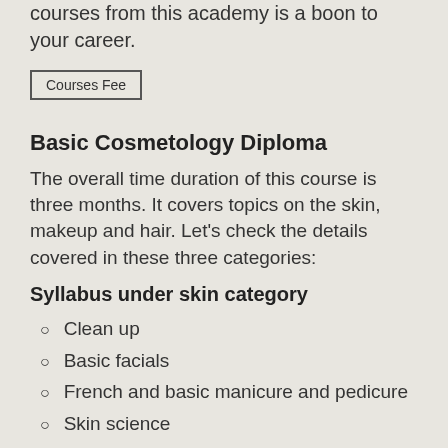if you are already in the beauty industry, the beauty courses from this academy is a boon to your career.
Courses Fee
Basic Cosmetology Diploma
The overall time duration of this course is three months. It covers topics on the skin, makeup and hair. Let's check the details covered in these three categories:
Syllabus under skin category
Clean up
Basic facials
French and basic manicure and pedicure
Skin science
Home-based packs